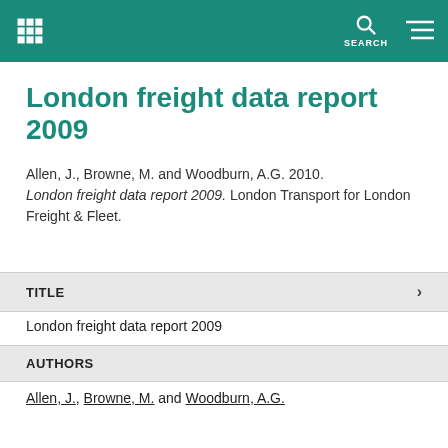London freight data report 2009 — site navigation header
London freight data report 2009
Allen, J., Browne, M. and Woodburn, A.G. 2010. London freight data report 2009. London Transport for London Freight & Fleet.
TITLE
London freight data report 2009
AUTHORS
Allen, J., Browne, M. and Woodburn, A.G.